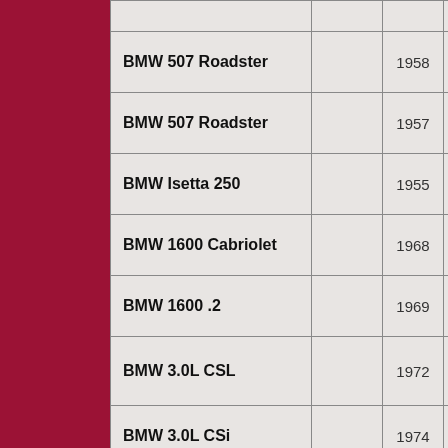| Model | Image | Year | Info |
| --- | --- | --- | --- |
| BMW 507 Roadster |  | 1958 | 4... |
| BMW 507 Roadster |  | 1957 | 8... |
| BMW Isetta 250 |  | 1955 | 3... |
| BMW 1600 Cabriolet |  | 1968 | 36... |
| BMW 1600 .2 |  | 1969 |  |
| BMW 3.0L CSL |  | 1972 | 55... m... |
| BMW 3.0L CSi |  | 1974 | 8... |